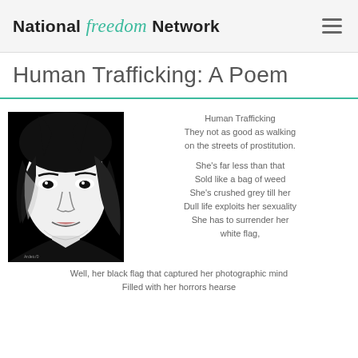National freedom Network
Human Trafficking: A Poem
[Figure (illustration): Black and white illustration/graphic of a woman's face with dark hair, stylized high-contrast art style]
Human Trafficking
They not as good as walking on the streets of prostitution.

She's far less than that
Sold like a bag of weed
She's crushed grey till her
Dull life exploits her sexuality
She has to surrender her white flag,
Well, her black flag that captured her photographic mind
Filled with her horrors hearse